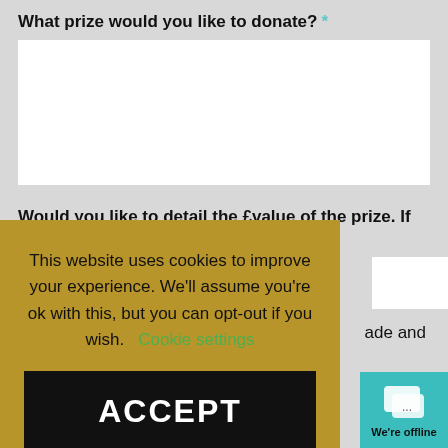What prize would you like to donate? *
[Figure (screenshot): Empty white textarea input box for prize donation answer]
Would you like to detail the £value of the prize. If so please
[Figure (screenshot): Small white input box for prize value]
ade and
[Figure (infographic): Cookie consent overlay with gold/olive background. Text reads: This website uses cookies to improve your experience. We'll assume you're ok with this, but you can opt-out if you wish. Cookie settings. Black ACCEPT button.]
[Figure (screenshot): Teal chat widget in bottom-right corner with chat bubble icon and 'We're offline' label]